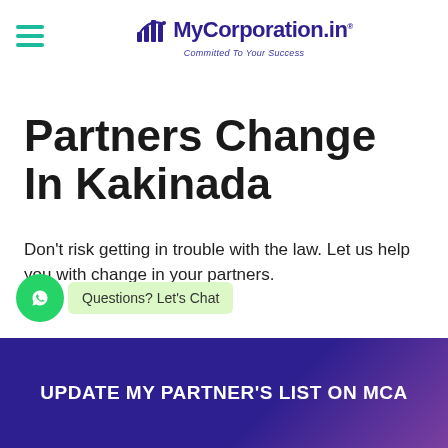[Figure (logo): MyCorporation.in logo with bar chart icon and tagline 'Committed To Your Success']
Partners Change In Kakinada
Don't risk getting in trouble with the law. Let us help you with change in your partners.
[Figure (other): WhatsApp chat widget with green circle icon and 'Questions? Let's Chat' bubble]
UPDATE MY PARTNER'S LIST ON MCA